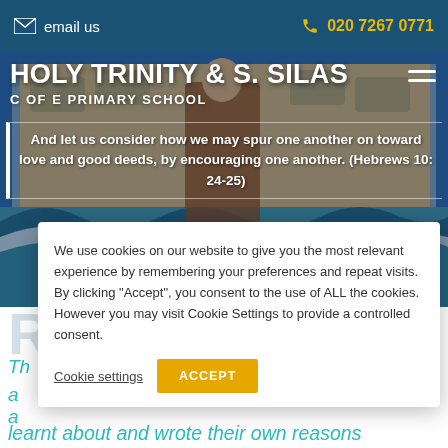email us   020 7267 0771
HOLY TRINITY & S. SILAS C OF E PRIMARY SCHOOL
And let us consider how we may spur one another on toward love and good deeds, by encouraging one another. (Hebrews 10: 24-25)
[Figure (photo): Religious mural/tapestry artwork showing figure standing on waves with scripture plaques, displayed on school wall]
We use cookies on our website to give you the most relevant experience by remembering your preferences and repeat visits. By clicking “Accept”, you consent to the use of ALL the cookies. However you may visit Cookie Settings to provide a controlled consent.
Cookie settings   ACCEPT
learnt about and wrote their own reasons